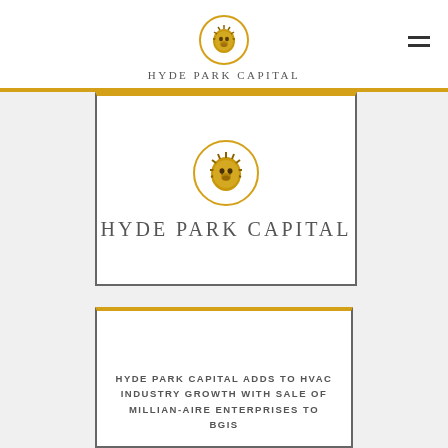[Figure (logo): Hyde Park Capital logo in navigation bar: lion head in gold circle with text Hyde Park Capital below]
[Figure (logo): Hyde Park Capital logo card: large lion head in gold circle with Hyde Park Capital text below]
HYDE PARK CAPITAL ADDS TO HVAC INDUSTRY GROWTH WITH SALE OF MILLIAN-AIRE ENTERPRISES TO BGIS